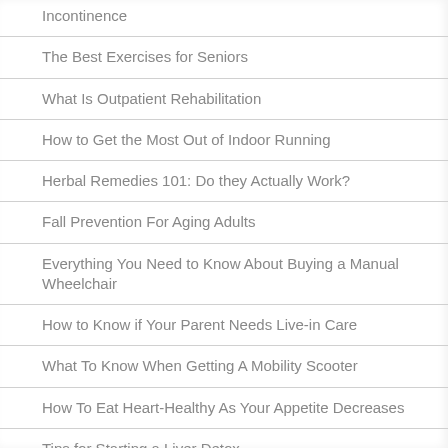Incontinence
The Best Exercises for Seniors
What Is Outpatient Rehabilitation
How to Get the Most Out of Indoor Running
Herbal Remedies 101: Do they Actually Work?
Fall Prevention For Aging Adults
Everything You Need to Know About Buying a Manual Wheelchair
How to Know if Your Parent Needs Live-in Care
What To Know When Getting A Mobility Scooter
How To Eat Heart-Healthy As Your Appetite Decreases
Tips for Starting a Liver Detox
Choosing Assisted Living Home For Your Loved One in Oxnard